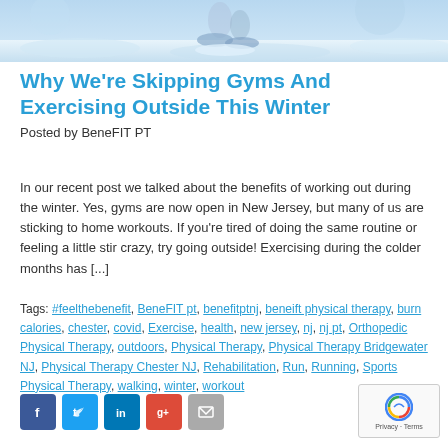[Figure (photo): Partial image of a person exercising outdoors in winter/snowy conditions, showing legs and feet in motion against a blue-white snowy background.]
Why We're Skipping Gyms And Exercising Outside This Winter
Posted by BeneFIT PT
In our recent post we talked about the benefits of working out during the winter. Yes, gyms are now open in New Jersey, but many of us are sticking to home workouts. If you're tired of doing the same routine or feeling a little stir crazy, try going outside! Exercising during the colder months has [...]
Tags: #feelthebenefit, BeneFIT pt, benefitptnj, beneift physical therapy, burn calories, chester, covid, Exercise, health, new jersey, nj, nj pt, Orthopedic Physical Therapy, outdoors, Physical Therapy, Physical Therapy Bridgewater NJ, Physical Therapy Chester NJ, Rehabilitation, Run, Running, Sports Physical Therapy, walking, winter, workout